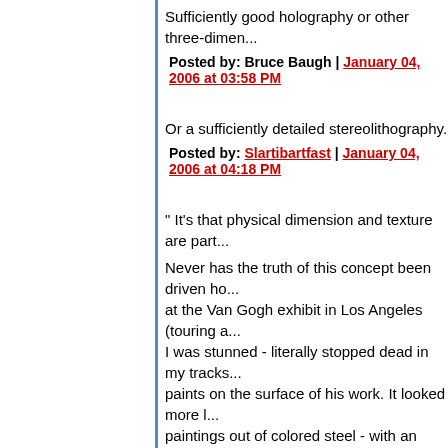Sufficiently good holography or other three-dimen...
Posted by: Bruce Baugh | January 04, 2006 at 03:58 PM
Or a sufficiently detailed stereolithography.
Posted by: Slartibartfast | January 04, 2006 at 04:18 PM
" It's that physical dimension and texture are part...
Never has the truth of this concept been driven ho... at the Van Gogh exhibit in Los Angeles (touring a... I was stunned - literally stopped dead in my tracks... paints on the surface of his work. It looked more l... paintings out of colored steel - with an unspeakab... "stroke" of the pallette knife - than like someone h... seemed as sculptural as they were painterly.
So, I'm with you Ed. The masterpieces need to be...
Posted by: xanax | January 04, 2006 at 04:19 PM
Edward,